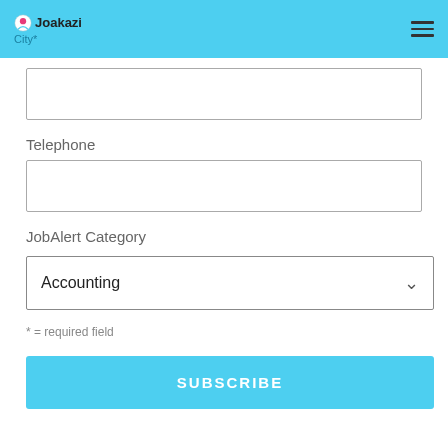Joakazi — City*
Telephone
JobAlert Category
Accounting
* = required field
SUBSCRIBE